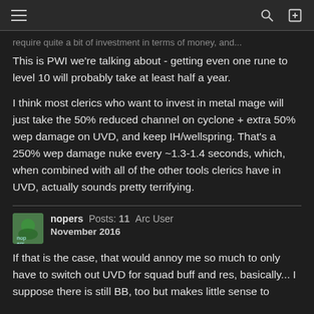Navigation header with hamburger menu, search, and login icons
require quite a bit of investment in terms of money, and...
This is PWI we're talking about - getting even one rune to level 10 will probably take at least half a year.
I think most clerics who want to invest in metal mage will just take the 50% reduced channel on cyclone + extra 50% wep damage on UVD, and keep IH/wellspring. That's a 250% wep damage nuke every ~1.3-1.4 seconds, which, when combined with all of the other tools clerics have in UVD, actually sounds pretty terrifying.
nopers  Posts: 11  Arc User  November 2016
If that is the case, that would annoy me so much to only have to switch out UVD for squad buff and res, basically... I suppose there is still BB, too but makes little sense to